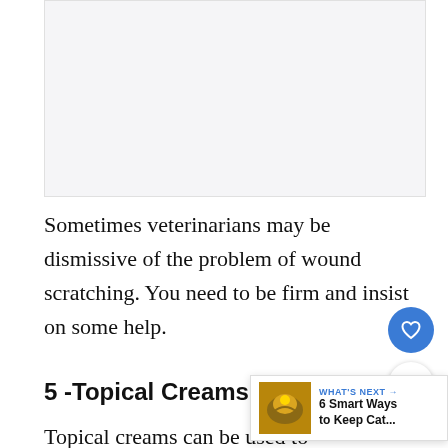[Figure (other): Blank/light gray image placeholder area at top of page]
Sometimes veterinarians may be dismissive of the problem of wound scratching. You need to be firm and insist on some help.
5 -Topical Creams Can Work
Topical creams can be used to